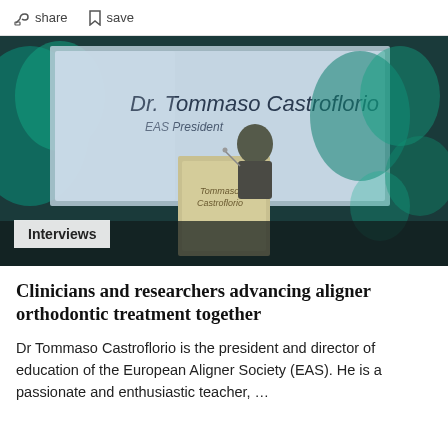share  save
[Figure (photo): Dr. Tommaso Castroflorio standing at a podium on stage with a large screen behind him showing his name and title 'EAS President'. The venue has teal/green lighting on the background.]
Interviews
Clinicians and researchers advancing aligner orthodontic treatment together
Dr Tommaso Castroflorio is the president and director of education of the European Aligner Society (EAS). He is a passionate and enthusiastic teacher, …